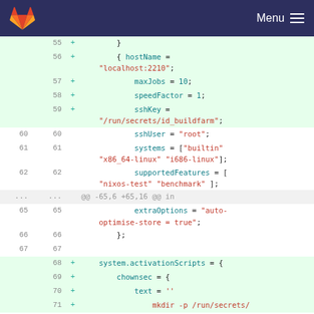GitLab — Menu
Code diff showing lines 55-71 of a NixOS configuration file with additions for hostName, maxJobs, speedFactor, sshKey, sshUser, systems, supportedFeatures, extraOptions, and system.activationScripts